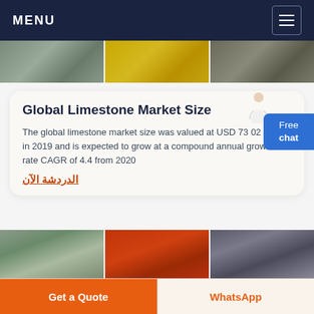MENU
[Figure (photo): Three industrial/factory images in a horizontal strip at the top]
Global Limestone Market Size
The global limestone market size was valued at USD 73 02 billion in 2019 and is expected to grow at a compound annual growth rate CAGR of 4.4 from 2020
الدردشة الآن
[Figure (photo): Three images of limestone crushing/mining machinery in a horizontal strip]
Get a Quote
WhatsApp